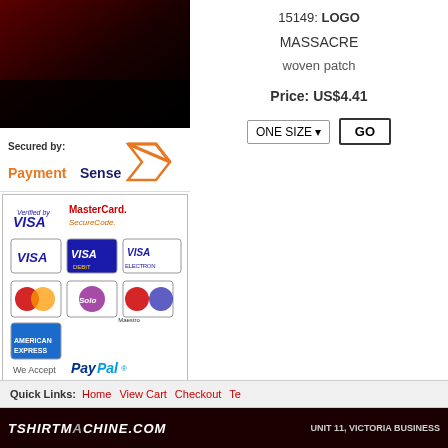[Figure (photo): Product image with dark red/black background]
[Figure (logo): Secured by PaymentSense logo]
[Figure (infographic): Payment security badges: Verified by VISA, MasterCard SecureCode, VISA, VISA Debit, VISA Electron, MasterCard, Solo, Maestro, Amex, and We Accept PayPal]
15149: LOGO
MASSACRE
woven patch
Price: US$4.41
ONE SIZE ▾   GO
Quick Links:  Home  View Cart  Checkout  Te...
TSHIRTMACHINE.COM   UNIT 11, VICTORIA BUSINESS